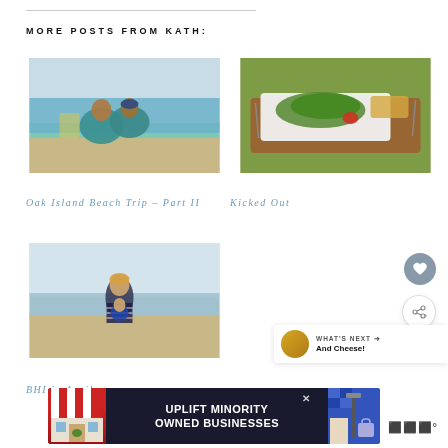MORE POSTS FROM KATH:
[Figure (photo): Two children at the beach wearing teal rash guards]
[Figure (photo): A salad and sandwich meal on a wooden table outdoors]
Oak Island Beach Trip – Part II
Kicked Out
[Figure (photo): Woman holding a young child on a sandy beach]
BHI in April
[Figure (infographic): Advertisement banner: UPLIFT MINORITY OWNED BUSINESSES]